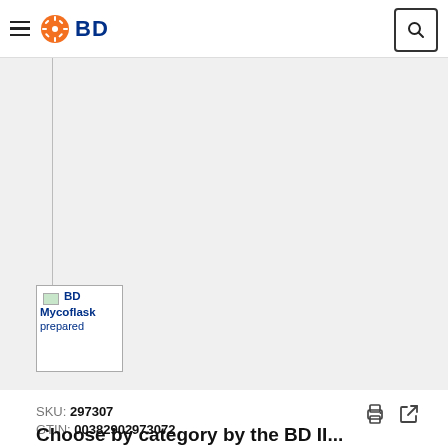BD — navigation header with hamburger menu, BD logo, and search button
[Figure (photo): BD Mycoflask prepared — product thumbnail image with partially visible text, bordered box]
SKU: 297307
GTIN: 00382902973072
Choose by category by the BD II...